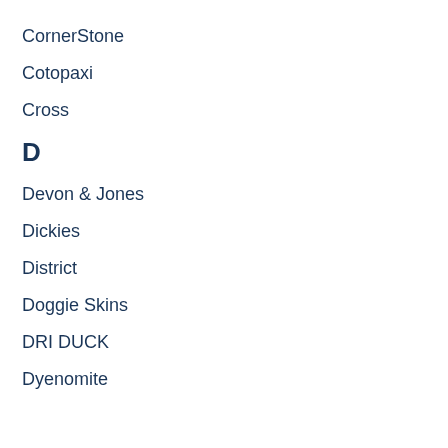CornerStone
Cotopaxi
Cross
D
Devon & Jones
Dickies
District
Doggie Skins
DRI DUCK
Dyenomite